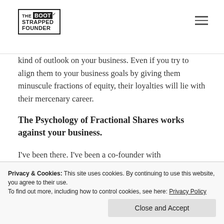THE BOOTSTRAPPED FOUNDER
kind of outlook on your business. Even if you try to align them to your business goals by giving them minuscule fractions of equity, their loyalties will lie with their mercenary career.
The Psychology of Fractional Shares works against your business.
I've been there. I've been a co-founder with
Privacy & Cookies: This site uses cookies. By continuing to use this website, you agree to their use. To find out more, including how to control cookies, see here: Privacy Policy
Close and Accept